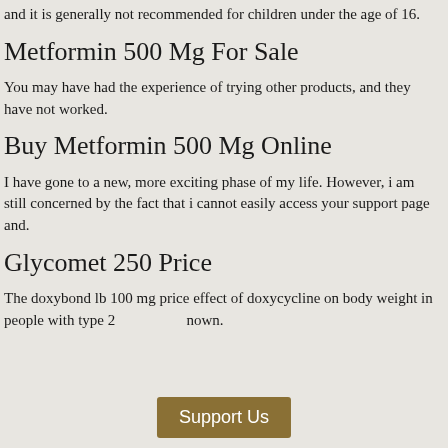and it is generally not recommended for children under the age of 16.
Metformin 500 Mg For Sale
You may have had the experience of trying other products, and they have not worked.
Buy Metformin 500 Mg Online
I have gone to a new, more exciting phase of my life. However, i am still concerned by the fact that i cannot easily access your support page and.
Glycomet 250 Price
The doxybond lb 100 mg price effect of doxycycline on body weight in people with type 2 nown.